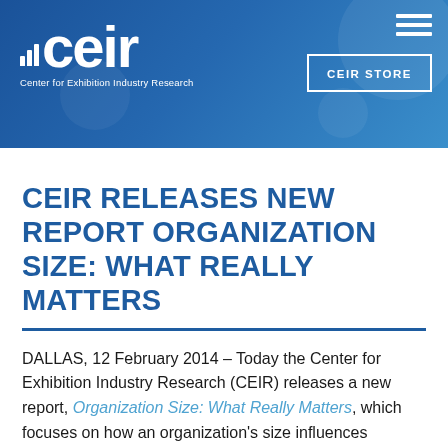[Figure (logo): CEIR logo with bar chart icon and text 'Center for Exhibition Industry Research' on blue background header, with hamburger menu icon and CEIR STORE button]
CEIR RELEASES NEW REPORT ORGANIZATION SIZE: WHAT REALLY MATTERS
DALLAS, 12 February 2014 – Today the Center for Exhibition Industry Research (CEIR) releases a new report, Organization Size: What Really Matters, which focuses on how an organization's size influences attendee preferences at exhibitions.